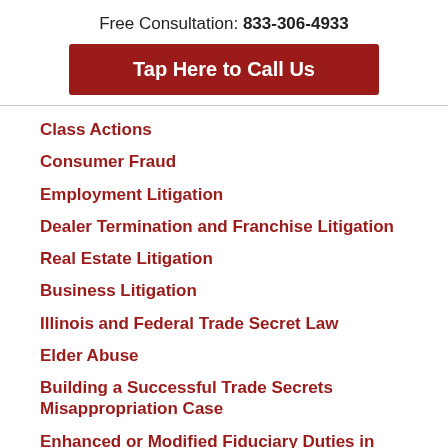Free Consultation: 833-306-4933
Tap Here to Call Us
Class Actions
Consumer Fraud
Employment Litigation
Dealer Termination and Franchise Litigation
Real Estate Litigation
Business Litigation
Illinois and Federal Trade Secret Law
Elder Abuse
Building a Successful Trade Secrets Misappropriation Case
Enhanced or Modified Fiduciary Duties in Closed Corporations